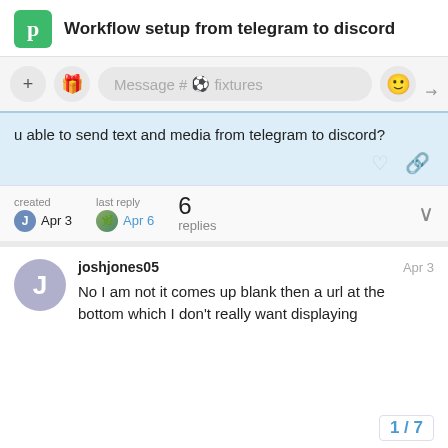Workflow setup from telegram to discord
[Figure (screenshot): Discord message input bar showing '+' button, gift icon button, text input placeholder 'Message #⚽fixtures', emoji button, and expand icon]
u able to send text and media from telegram to discord?
created Apr 3   last reply Apr 6   6 replies
joshjones05   Apr 3
No I am not it comes up blank then a url at the bottom which I don't really want displaying
1 / 7